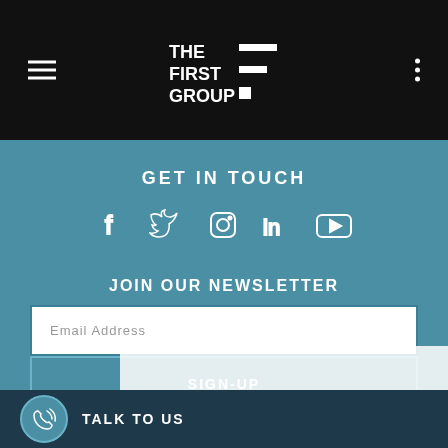[Figure (logo): The First Group logo in white on black header bar]
GET IN TOUCH
[Figure (infographic): Social media icons row: Facebook, Twitter, Instagram, LinkedIn, YouTube]
JOIN OUR NEWSLETTER
Email Address
SIGN-UP
Privacy Policy
Sitemap
TALK TO US